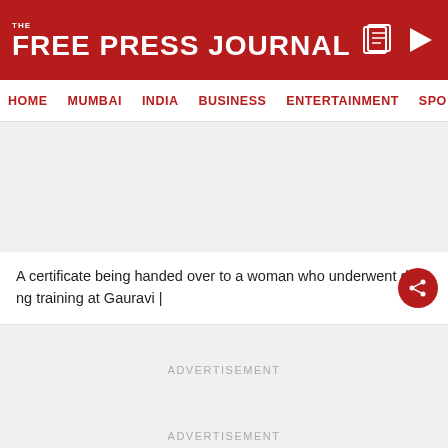THE FREE PRESS JOURNAL
HOME  MUMBAI  INDIA  BUSINESS  ENTERTAINMENT  SPO
[Figure (other): Advertisement placeholder area (gray background, empty)]
A certificate being handed over to a woman who underwent driving training at Gauravi |
[Figure (other): Advertisement placeholder area (gray background) with ADVERTISEMENT label]
ADVERTISEMENT